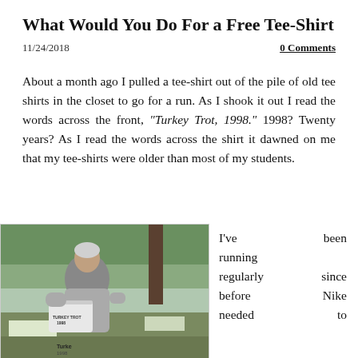What Would You Do For a Free Tee-Shirt
11/24/2018
0 Comments
About a month ago I pulled a tee-shirt out of the pile of old tee shirts in the closet to go for a run. As I shook it out I read the words across the front, “Turkey Trot, 1998.” 1998? Twenty years? As I read the words across the shirt it dawned on me that my tee-shirts were older than most of my students.
[Figure (photo): A man holding up a white tee-shirt outdoors, with trees and a snowy landscape in the background. The shirt appears to have text on it reading Turkey Trot 1998.]
I’ve been running regularly since before Nike needed to